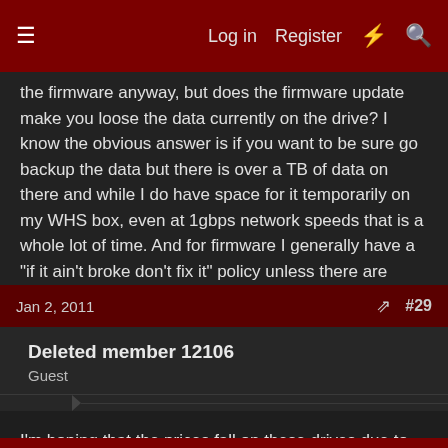☰  Log in  Register  ⚡  🔍
the firmware anyway, but does the firmware update make you loose the data currently on the drive? I know the obvious answer is if you want to be sure go backup the data but there is over a TB of data on there and while I do have space for it temporarily on my WHS box, even at 1gbps network speeds that is a whole lot of time. And for firmware I generally have a "if it ain't broke don't fix it" policy unless there are features I want in the firmware.
Jan 2, 2011  #29
Deleted member 12106
Guest
I'm hoping that the prices fall on these drives due to the "firmware issues" so I can score up a boat load and flash the drives. 😊